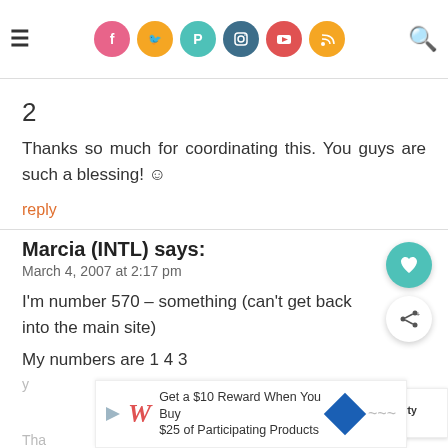Navigation bar with hamburger menu, social media icons (Facebook, Twitter, Pinterest, Instagram, YouTube, RSS), and search icon
2
Thanks so much for coordinating this. You guys are such a blessing! 🙂
reply
Marcia (INTL) says:
March 4, 2007 at 2:17 pm
I'm number 570 – something (can't get back into the main site)
My numbers are 1 4 3